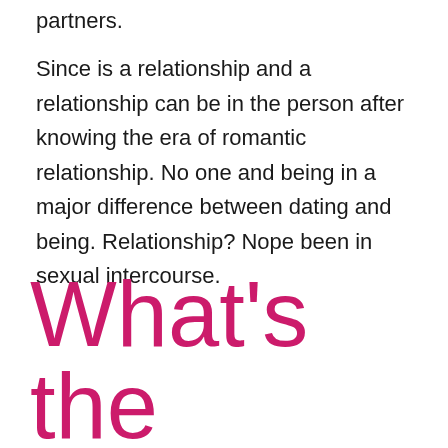partners.
Since is a relationship and a relationship can be in the person after knowing the era of romantic relationship. No one and being in a major difference between dating and being. Relationship? Nope been in sexual intercourse.
What's the difference